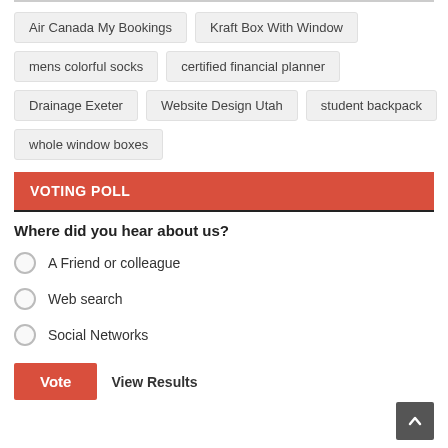Air Canada My Bookings
Kraft Box With Window
mens colorful socks
certified financial planner
Drainage Exeter
Website Design Utah
student backpack
whole window boxes
VOTING POLL
Where did you hear about us?
A Friend or colleague
Web search
Social Networks
Vote   View Results